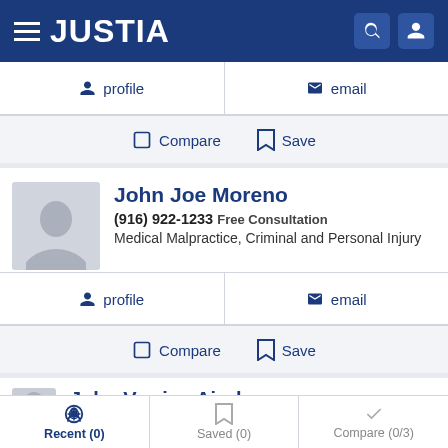JUSTIA
profile | email
Compare | Save
John Joe Moreno
(916) 922-1233 Free Consultation
Medical Malpractice, Criminal and Personal Injury
profile | email
Compare | Save
John Verrios Airola
Recent (0) | Saved (0) | Compare (0/3)